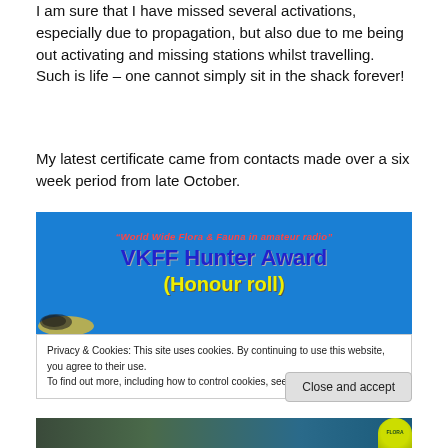I am sure that I have missed several activations, especially due to propagation, but also due to me being out activating and missing stations whilst travelling. Such is life – one cannot simply sit in the shack forever!
My latest certificate came from contacts made over a six week period from late October.
[Figure (illustration): VKFF Hunter Award (Honour roll) certificate banner with blue background, red italic subtitle 'World Wide Flora & Fauna in amateur radio', blue bold title 'VKFF Hunter Award', yellow bold text '(Honour roll)', and partial bird image at bottom]
Privacy & Cookies: This site uses cookies. By continuing to use this website, you agree to their use.
To find out more, including how to control cookies, see here: Cookie Policy
[Figure (photo): Partial photo at bottom of page showing nature/outdoor scene with green flora badge visible at right]